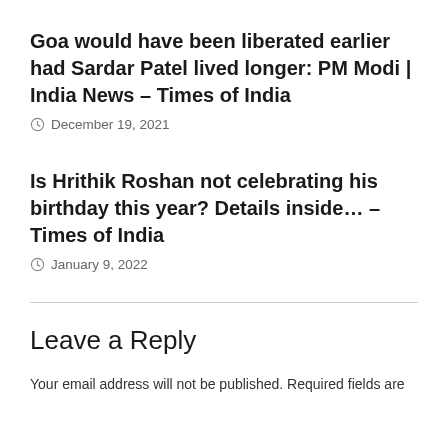Goa would have been liberated earlier had Sardar Patel lived longer: PM Modi | India News – Times of India
December 19, 2021
Is Hrithik Roshan not celebrating his birthday this year? Details inside… – Times of India
January 9, 2022
Leave a Reply
Your email address will not be published. Required fields are